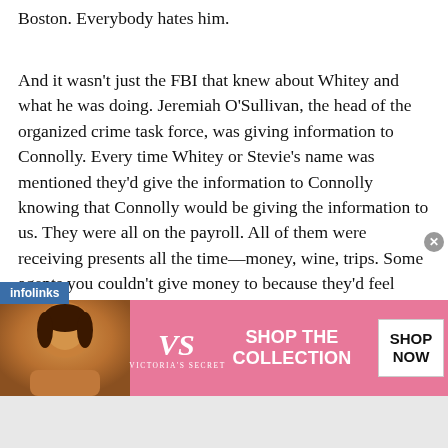Boston. Everybody hates him.
And it wasn't just the FBI that knew about Whitey and what he was doing. Jeremiah O'Sullivan, the head of the organized crime task force, was giving information to Connolly. Every time Whitey or Stevie's name was mentioned they'd give the information to Connolly knowing that Connolly would be giving the information to us. They were all on the payroll. All of them were receiving presents all the time—money, wine, trips. Some agents you couldn't give money to because they'd feel insulted, so you'd give them a crystal or a Chelsea Clock. Everybody had their weakness.
One mystery surrounding Whitey Bulger is the Lady of the Dunes—the nickname for the body of the mysterious
[Figure (screenshot): Victoria's Secret advertisement banner with pink background, model photo on left, VS logo, 'SHOP THE COLLECTION' text, and 'SHOP NOW' button on right. An 'infolinks' label overlay and close button are also visible.]